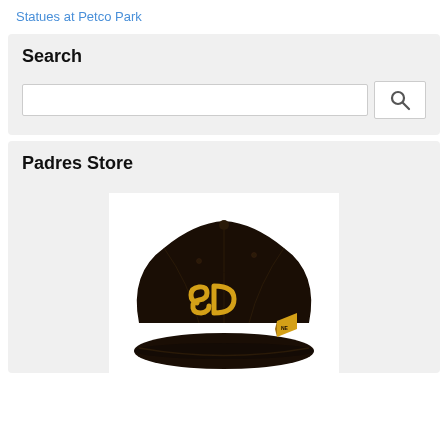Statues at Petco Park
Search
[Figure (screenshot): Search input box with magnifying glass button]
Padres Store
[Figure (photo): San Diego Padres brown snapback cap with gold SD logo and New Era flag logo on the side]